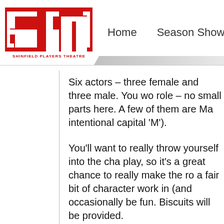[Figure (logo): Shinfield Players Theatre logo — red SPT letters with red bracket shapes, and 'SHINFIELD PLAYERS THEATRE' text below]
Home    Season Shows    Box Offic
Six actors – three female and three male. You wo role – no small parts here. A few of them are Ma intentional capital 'M').
You'll want to really throw yourself into the cha play, so it's a great chance to really make the ro a fair bit of character work in (and occasionally be fun. Biscuits will be provided.
Oh – and most of you will be fairly young. Five o ideally need to be played by actors and actresse sixth is older. But perfect for an actor young at h